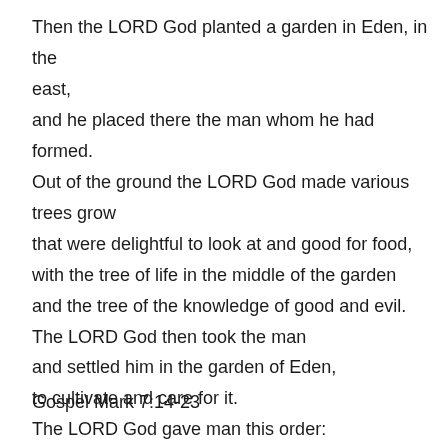Then the LORD God planted a garden in Eden, in the east, and he placed there the man whom he had formed. Out of the ground the LORD God made various trees grow that were delightful to look at and good for food, with the tree of life in the middle of the garden and the tree of the knowledge of good and evil. The LORD God then took the man and settled him in the garden of Eden, to cultivate and care for it. The LORD God gave man this order: “You are free to eat from any of the trees of the garden except the tree of knowledge of good and evil. From that tree you shall not eat; the moment you eat from it you are surely doomed to die.”
Gospel Mark 7:14-23